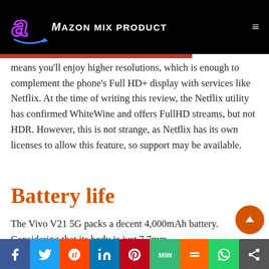[Figure (logo): Amazon Mix Product logo with stylized 'a' in purple and white text 'MAZON MIX PRODUCT' on black header bar]
means you'll enjoy higher resolutions, which is enough to complement the phone's Full HD+ display with services like Netflix. At the time of writing this review, the Netflix utility has confirmed WhiteWine and offers FullHD streams, but not HDR. However, this is not strange, as Netflix has its own licenses to allow this feature, so support may be available.
Battery life
The Vivo V21 5G packs a decent 4,000mAh battery. Considering that its body is just 7.7mm